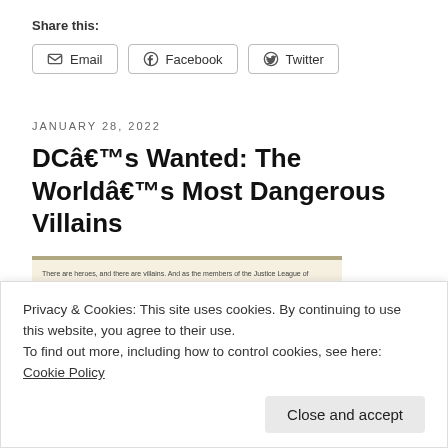Share this:
Email
Facebook
Twitter
JANUARY 28, 2022
DCâ€™s Wanted: The Worldâ€™s Most Dangerous Villains
[Figure (photo): Comic book covers showing 'Wanted: World's Most Dangerous Super-Villains!' DC comics with three WANTED cover issues visible on a corkboard background]
Privacy & Cookies: This site uses cookies. By continuing to use this website, you agree to their use.
To find out more, including how to control cookies, see here: Cookie Policy